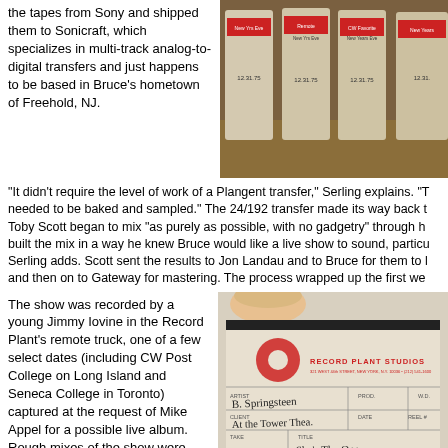the tapes from Sony and shipped them to Sonicraft, which specializes in multi-track analog-to-digital transfers and just happens to be based in Bruce's hometown of Freehold, NJ.
[Figure (photo): Photo of analog tape reels labeled with dates including 12-31-75, New Years Eve, Remote]
"It didn't require the level of work of a Plangent transfer," Serling explains. "T needed to be baked and sampled." The 24/192 transfer made its way back t Toby Scott began to mix "as purely as possible, with no gadgetry" through h built the mix in a way he knew Bruce would like a live show to sound, particu Serling adds. Scott sent the results to Jon Landau and to Bruce for them to l and then on to Gateway for mastering. The process wrapped up the first we
The show was recorded by a young Jimmy Iovine in the Record Plant's remote truck, one of a few select dates (including CW Post College on Long Island and Seneca College in Toronto) captured at the request of Mike Appel for a possible live album. Rough mixes of the show were made back in early 1976 for consideration, but the live album plan was scrapped.
[Figure (photo): Photo of a Record Plant Studios tape box/reel label with handwritten text: B. Springsteen At the Tower Thea., and song titles She's The One, Pink Flamingo, Saint In The City]
Nine tracks from those '76